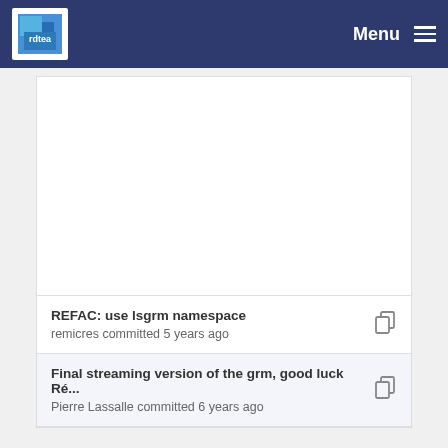Menu
REFAC: use lsgrm namespace
remicres committed 5 years ago
Final streaming version of the grm, good luck Ré...
Pierre Lassalle committed 6 years ago